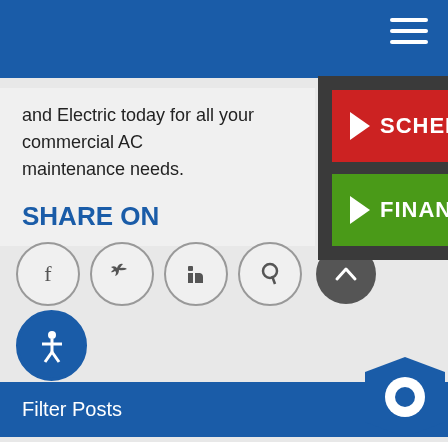Navigation bar with hamburger menu
and Electric today for all your commercial AC maintenance needs.
SHARE ON
[Figure (screenshot): Social sharing icons: Facebook, Twitter, LinkedIn, Pinterest circles, and an up-arrow button]
[Figure (screenshot): Overlay popup with Schedule Service (red) and Financing Options (green) buttons]
Filter Posts
Enter search term
Select Category
Show All